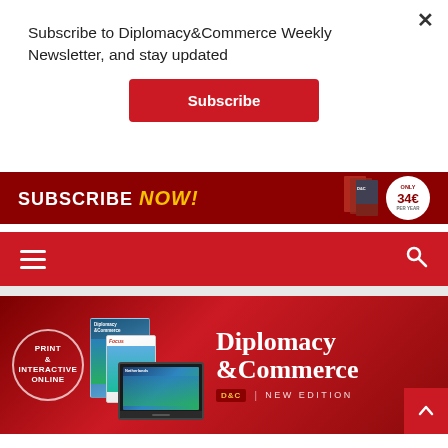Subscribe to Diplomacy&Commerce Weekly Newsletter, and stay updated
Subscribe
[Figure (infographic): Red promotional banner: SUBSCRIBE NOW! with price badge showing 34€ per year and magazine cover thumbnails]
[Figure (screenshot): Red navigation bar with hamburger menu icon on the left and search icon on the right]
[Figure (infographic): Diplomacy & Commerce magazine promotional banner with PRINT & INTERACTIVE ONLINE circle, magazine covers on tablet and laptop, and Diplomacy & Commerce D&C NEW EDITION logo]
Home / BUSINESS / Prime Minister Ana Brnabić visited BAT factory in Vranje